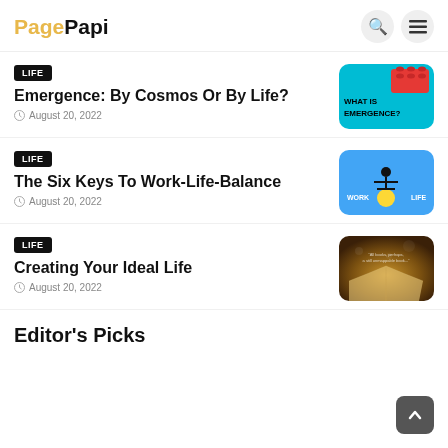PagePapi
LIFE | Emergence: By Cosmos Or By Life? | August 20, 2022
[Figure (illustration): Thumbnail image for Emergence article: cyan background with red LEGO brick and text WHAT IS EMERGENCE?]
LIFE | The Six Keys To Work-Life-Balance | August 20, 2022
[Figure (illustration): Thumbnail image for Work-Life-Balance article: blue background with stick figure balancing between WORK and LIFE labels on a yellow ball]
LIFE | Creating Your Ideal Life | August 20, 2022
[Figure (photo): Thumbnail image for Creating Your Ideal Life: open book with bokeh lighting background and inspirational quote text]
Editor's Picks